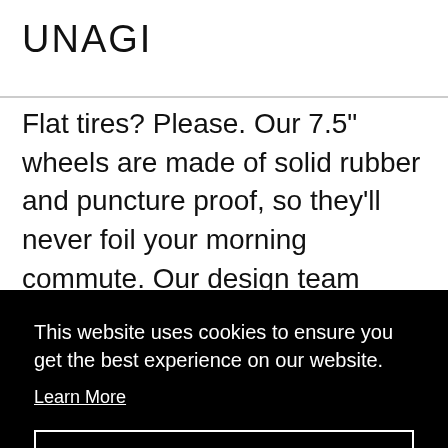UNAGI
Flat tires? Please. Our 7.5" wheels are made of solid rubber and puncture proof, so they'll never foil your morning commute. Our design team broke new ground on these tires. Notice the air pockets spread throughout the circumference of the wheel. These ingeniously act as a front and
feel
This website uses cookies to ensure you get the best experience on our website.
Learn More
Got it!